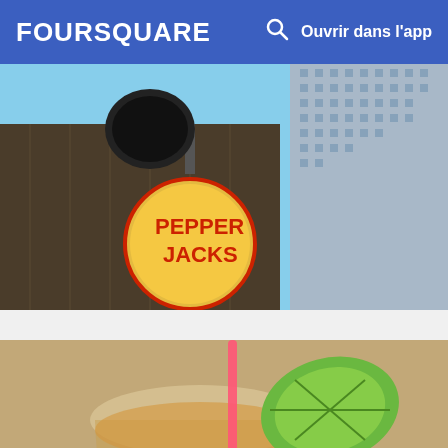FOURSQUARE   Ouvrir dans l'app
[Figure (photo): Exterior photo of Pepperjacks Tex-Mex Grill restaurant sign with skyscrapers in the background]
34. Pepperjacks Tex-Mex Grill
419 Travis St, Houston, TX
Restaurant mexicain · 2 conseils et avis
[Figure (photo): Close-up photo of a cocktail drink in a plastic cup with a lime wedge and pink straw]